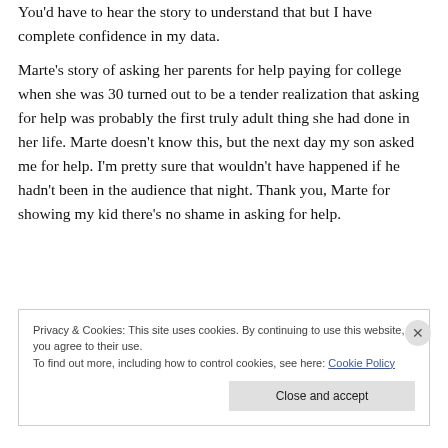You'd have to hear the story to understand that but I have complete confidence in my data.
Marte's story of asking her parents for help paying for college when she was 30 turned out to be a tender realization that asking for help was probably the first truly adult thing she had done in her life. Marte doesn't know this, but the next day my son asked me for help. I'm pretty sure that wouldn't have happened if he hadn't been in the audience that night. Thank you, Marte for showing my kid there's no shame in asking for help.
Privacy & Cookies: This site uses cookies. By continuing to use this website, you agree to their use. To find out more, including how to control cookies, see here: Cookie Policy